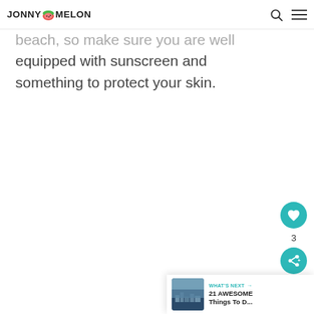JONNY MELON
beach, so make sure you are well equipped with sunscreen and something to protect your skin.
[Figure (other): Like/favorite button (heart icon) in teal circle with count 3 below, and share button in teal circle]
[Figure (other): What's Next navigation card showing aerial coastal city photo with text: WHAT'S NEXT → 21 AWESOME Things To D...]